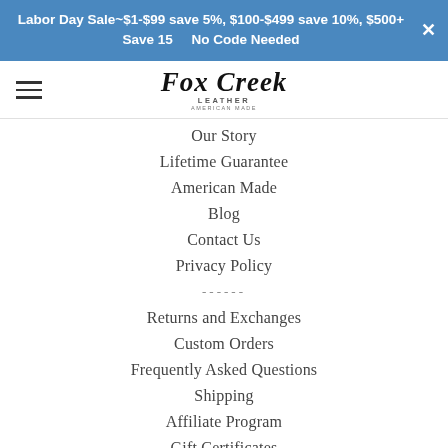Labor Day Sale~$1-$99 save 5%, $100-$499 save 10%, $500+ Save 15   No Code Needed
[Figure (logo): Fox Creek Leather logo with script text and tagline]
Our Story
Lifetime Guarantee
American Made
Blog
Contact Us
Privacy Policy
Returns and Exchanges
Custom Orders
Frequently Asked Questions
Shipping
Affiliate Program
Gift Certificates
Leather Care Guide
Categories